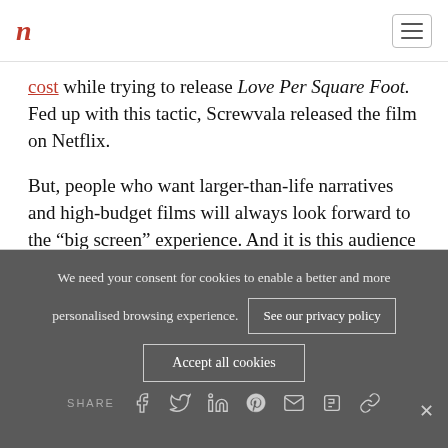n [logo] [hamburger menu]
cost while trying to release Love Per Square Foot. Fed up with this tactic, Screwvala released the film on Netflix.

But, people who want larger-than-life narratives and high-budget films will always look forward to the “big screen” experience. And it is this audience that multiplexes will increasingly cater to in the months to come.
We need your consent for cookies to enable a better and more personalised browsing experience.
See our privacy policy
Accept all cookies
SHARE